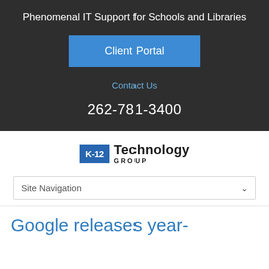Phenomenal IT Support for Schools and Libraries
Client Portal
Contact Us
262-781-3400
[Figure (logo): K-12 Technology Group logo with blue badge and bold text]
Site Navigation
Google releases year-